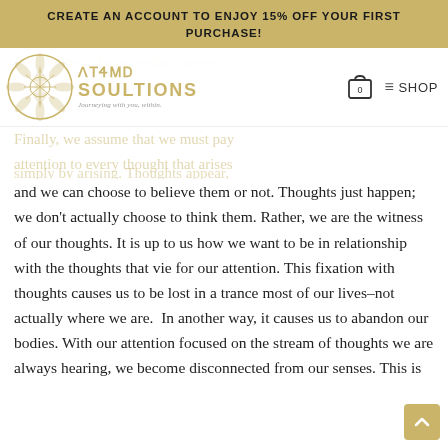CREATE AN ACCOUNT TO ENJOY 15% OFF YOUR FIRST PURCHASE!
[Figure (logo): Atma Soultions logo with geometric star mandala and brand name]
and we can choose to believe them or not. Thoughts just happen; we don’t actually choose to think them. Rather, we are the witness of our thoughts. It is up to us how we want to be in relationship with the thoughts that vie for our attention. This fixation with thoughts causes us to be lost in a trance most of our lives–not actually where we are. In another way, it causes us to abandon our bodies. With our attention focused on the stream of thoughts we are always hearing, we become disconnected from our senses. This is